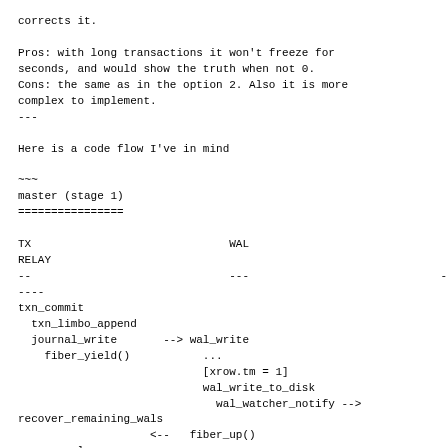corrects it.
Pros: with long transactions it won't freeze for
seconds, and would show the truth when not 0.
Cons: the same as in the option 2. Also it is more
complex to implement.
---
Here is a code flow I've in mind
~~~
master (stage 1)
================

TX                              WAL
RELAY
--                              ---                             -
----
txn_commit
  txn_limbo_append
  journal_write       --> wal_write
    fiber_yield()           ...
                            [xrow.tm = 1]
                            wal_write_to_disk
                              wal_watcher_notify -->
recover_remaining_wals
                    <--   fiber_up()
recover_xlog

relay_send_row